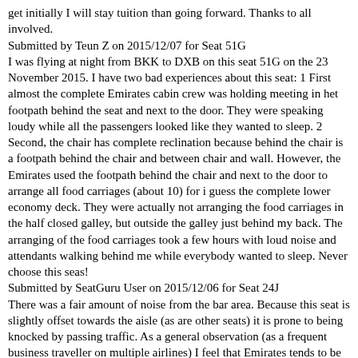get initially I will stay tuition than going forward. Thanks to all involved.
Submitted by Teun Z on 2015/12/07 for Seat 51G
I was flying at night from BKK to DXB on this seat 51G on the 23 November 2015. I have two bad experiences about this seat: 1 First almost the complete Emirates cabin crew was holding meeting in het footpath behind the seat and next to the door. They were speaking loudy while all the passengers looked like they wanted to sleep. 2 Second, the chair has complete reclination because behind the chair is a footpath behind the chair and between chair and wall. However, the Emirates used the footpath behind the chair and next to the door to arrange all food carriages (about 10) for i guess the complete lower economy deck. They were actually not arranging the food carriages in the half closed galley, but outside the galley just behind my back. The arranging of the food carriages took a few hours with loud noise and attendants walking behind me while everybody wanted to sleep. Never choose this seas!
Submitted by SeatGuru User on 2015/12/06 for Seat 24J
There was a fair amount of noise from the bar area. Because this seat is slightly offset towards the aisle (as are other seats) it is prone to being knocked by passing traffic. As a general observation (as a frequent business traveller on multiple airlines) I feel that Emirates tends to be over-rated.
Submitted by SeatGuru User on 2015/12/02 for Seat 4A
Flew LHR to DXB and upgraded from business to first using miles. Glad I did, everything about the experience was a class